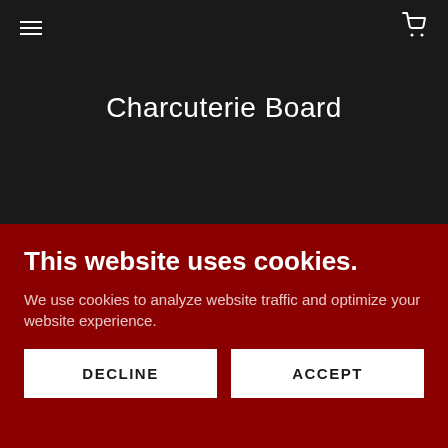☰  🛒
Charcuterie Board
This website uses cookies.
We use cookies to analyze website traffic and optimize your website experience.
DECLINE
ACCEPT